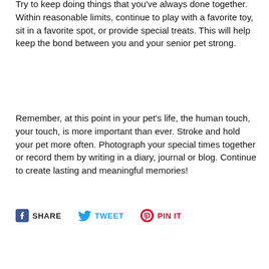Try to keep doing things that you've always done together. Within reasonable limits, continue to play with a favorite toy, sit in a favorite spot, or provide special treats. This will help keep the bond between you and your senior pet strong.
Remember, at this point in your pet's life, the human touch, your touch, is more important than ever. Stroke and hold your pet more often. Photograph your special times together or record them by writing in a diary, journal or blog. Continue to create lasting and meaningful memories!
SHARE   TWEET   PIN IT